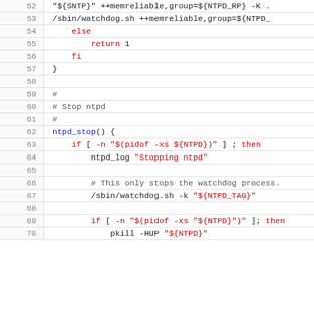Code listing lines 52-70: shell script for ntpd stop function
| line | code |
| --- | --- |
| 52 | "${SNTP}" ++memreliable,group=${NTPD_RP} -K . |
| 53 | /sbin/watchdog.sh ++memreliable,group=${NTPD_ |
| 54 | else |
| 55 | return 1 |
| 56 | fi |
| 57 | } |
| 58 |  |
| 59 | # |
| 60 | # Stop ntpd |
| 61 | # |
| 62 | ntpd_stop() { |
| 63 | if [ -n "$(pidof -xs ${NTPD})" ] ; then |
| 64 | ntpd_log "Stopping ntpd" |
| 65 |  |
| 66 | # This only stops the watchdog process. |
| 67 | /sbin/watchdog.sh -k "${NTPD_TAG}" |
| 68 |  |
| 69 | if [ -n "$(pidof -xs "${NTPD}")" ]; then |
| 70 | pkill -HUP "${NTPD}" |